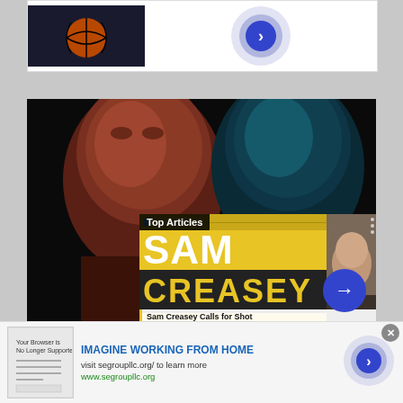[Figure (screenshot): Top ad banner with basketball photo and blue arrow button]
[Figure (photo): Two athletes face close-up in dramatic lighting, with overlaid yellow SAM CREASEY card, Top Articles label, and video thumbnail]
Sam Creasey Calls for Shot
[Figure (infographic): Bottom advertisement banner: IMAGINE WORKING FROM HOME, visit segroupllc.org/ to learn more, www.segroupllc.org, with arrow button]